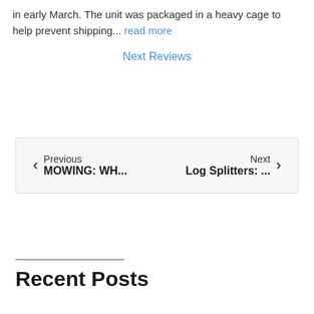in early March. The unit was packaged in a heavy cage to help prevent shipping... read more
Next Reviews
← Previous MOWING: WH...   Next Log Splitters: ... →
Recent Posts